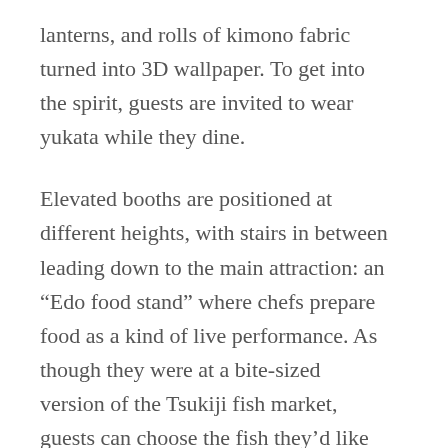lanterns, and rolls of kimono fabric turned into 3D wallpaper. To get into the spirit, guests are invited to wear yukata while they dine.
Elevated booths are positioned at different heights, with stairs in between leading down to the main attraction: an “Edo food stand” where chefs prepare food as a kind of live performance. As though they were at a bite-sized version of the Tsukiji fish market, guests can choose the fish they’d like as well as the preferred preparation method – nigiri, sashimi, or more.